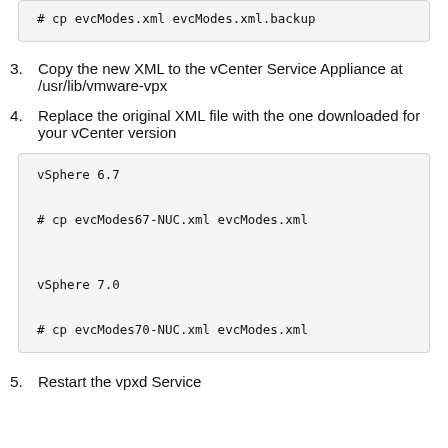# cp evcModes.xml evcModes.xml.backup
3. Copy the new XML to the vCenter Service Appliance at /usr/lib/vmware-vpx
4. Replace the original XML file with the one downloaded for your vCenter version
vSphere 6.7
# cp evcModes67-NUC.xml evcModes.xml

vSphere 7.0
# cp evcModes70-NUC.xml evcModes.xml
5. Restart the vpxd Service